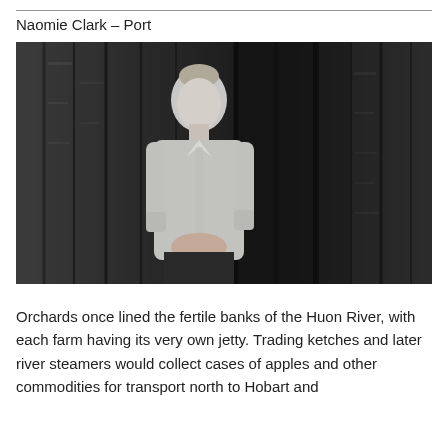Naomie Clark – Port
[Figure (photo): Black and white portrait photograph of a middle-aged woman with light hair pulled back, wearing a light grey button-up shirt, standing in front of a weathered dark wooden plank wall, hands clasped in front of her.]
Orchards once lined the fertile banks of the Huon River, with each farm having its very own jetty. Trading ketches and later river steamers would collect cases of apples and other commodities for transport north to Hobart and